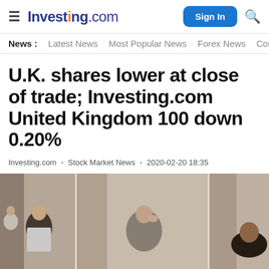Investing.com — Sign In
News : Latest News · Most Popular News · Forex News · Comr
U.K. shares lower at close of trade; Investing.com United Kingdom 100 down 0.20%
Investing.com · Stock Market News · 2020-02-20 18:35
[Figure (photo): Three panel composite photo showing traders/businessmen in distress, leaning against columns in a trading environment.]